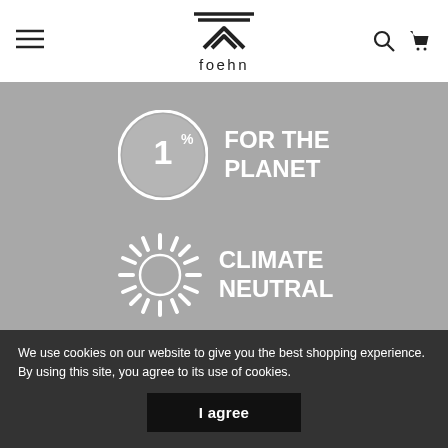foehn
[Figure (logo): Foehn brand logo with mountain/chevron icon and 'foehn' text]
[Figure (logo): 1% for the Planet certification badge - circular logo with '1%' inside and text 'FOR THE PLANET']
[Figure (logo): Climate Neutral certification badge - sunburst/starburst logo with text 'CLIMATE NEUTRAL']
Join our community
Get early access to new products & 10% off your first order.
We use cookies on our website to give you the best shopping experience. By using this site, you agree to its use of cookies.